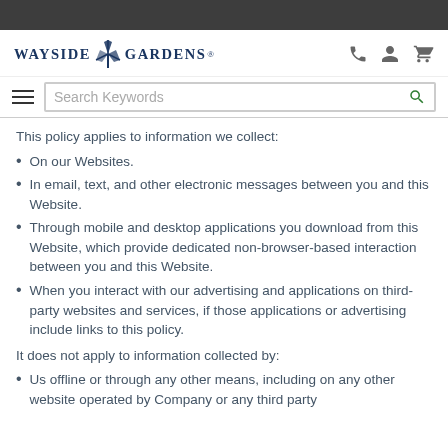[Figure (logo): Wayside Gardens logo with windmill icon and brand name in dark navy serif text]
This policy applies to information we collect:
On our Websites.
In email, text, and other electronic messages between you and this Website.
Through mobile and desktop applications you download from this Website, which provide dedicated non-browser-based interaction between you and this Website.
When you interact with our advertising and applications on third-party websites and services, if those applications or advertising include links to this policy.
It does not apply to information collected by:
Us offline or through any other means, including on any other website operated by Company or any third party